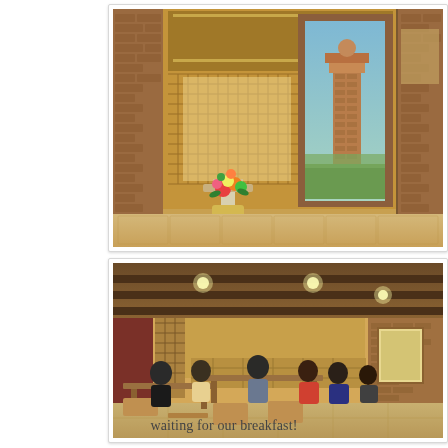[Figure (photo): Interior of a Filipino heritage restaurant showing ornate wooden decor, a flower arrangement on a pedestal, ceramic pots, and a mural painting of a historic brick bell tower on a door panel. Brick walls and traditional Filipino architectural elements visible.]
[Figure (photo): Interior dining area of a Filipino heritage restaurant with wooden beamed ceiling, recessed lights, brick walls, a painting on the wall, and several patrons seated at wooden tables eating and conversing. A service counter with shelves is visible in the background.]
waiting for our breakfast!